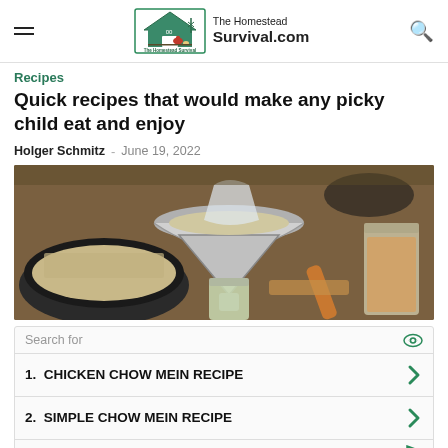The Homestead Survival.com
Recipes
Quick recipes that would make any picky child eat and enjoy
Holger Schmitz · June 19, 2022
[Figure (photo): Kitchen scene with metal bowls and canning funnel being used to fill mason jars with a meat or grain mixture, wooden spoon and cutting board visible in background]
[Figure (other): Advertisement search box with two results: 1. CHICKEN CHOW MEIN RECIPE, 2. SIMPLE CHOW MEIN RECIPE]